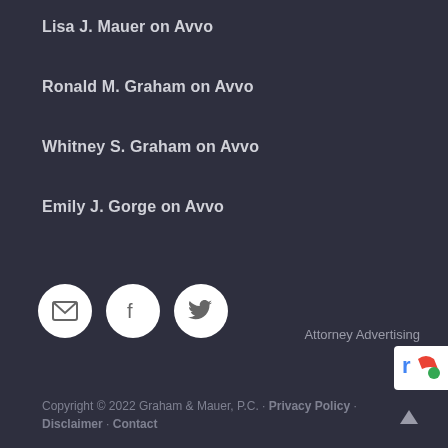Lisa J. Mauer on Avvo
Ronald M. Graham on Avvo
Whitney S. Graham on Avvo
Emily J. Gorge on Avvo
[Figure (infographic): Three circular white social media icon buttons: email/envelope, Facebook, and Twitter]
Attorney Advertising
[Figure (logo): reCAPTCHA logo badge partially visible at right edge]
Copyright © 2022 Graham & Mauer, P.C. · Privacy Policy · Disclaimer · Contact